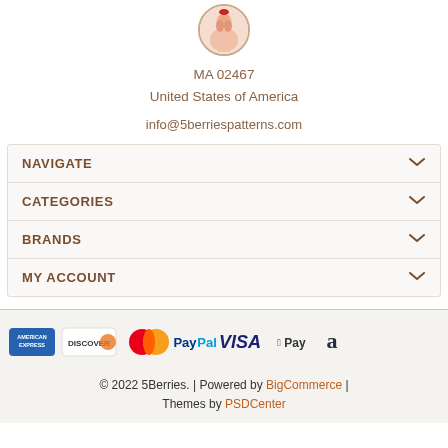[Figure (logo): Circular logo for 5Berries Patterns]
MA 02467
United States of America
info@5berriespatterns.com
NAVIGATE
CATEGORIES
BRANDS
MY ACCOUNT
[Figure (infographic): Payment method icons: American Express, Discover, Mastercard, PayPal, VISA, Apple Pay, Amazon]
© 2022 5Berries. | Powered by BigCommerce | Themes by PSDCenter